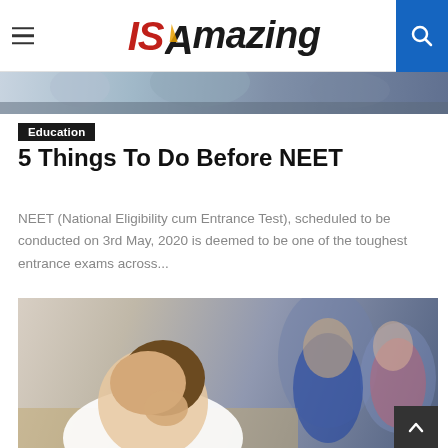IS Amazing
[Figure (photo): Students in classroom, partial view at top of page]
Education
5 Things To Do Before NEET
NEET (National Eligibility cum Entrance Test), scheduled to be conducted on 3rd May, 2020 is deemed to be one of the toughest entrance exams across...
[Figure (photo): Student sitting at exam desk, head resting on hand, appearing stressed or concentrating, with other students blurred in background]